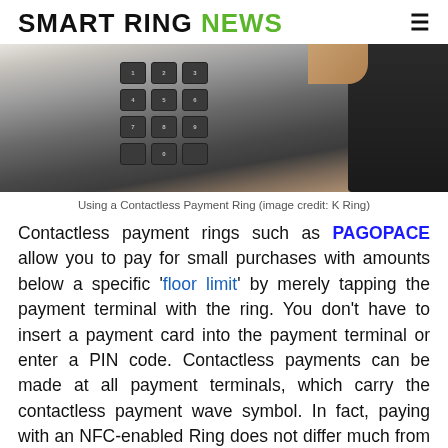SMART RING NEWS
[Figure (photo): Close-up photo of a hand holding a contactless payment terminal with keypad buttons visible]
Using a Contactless Payment Ring (image credit: K Ring)
Contactless payment rings such as PAGOPACE allow you to pay for small purchases with amounts below a specific 'floor limit' by merely tapping the payment terminal with the ring. You don't have to insert a payment card into the payment terminal or enter a PIN code. Contactless payments can be made at all payment terminals, which carry the contactless payment wave symbol. In fact, paying with an NFC-enabled Ring does not differ much from the traditional contactless